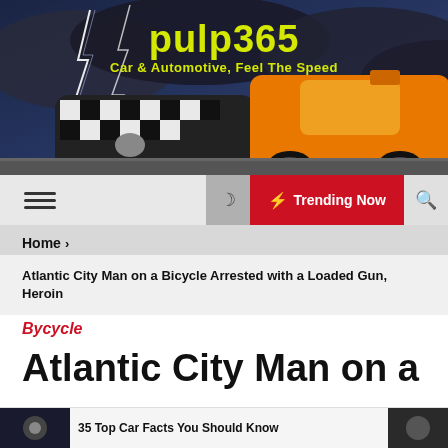[Figure (photo): Website header banner showing two racing cars (black & white checkered Honda and orange/yellow sports car) against a dramatic stormy sky with lightning bolts. Site name 'pulp365' in yellow and tagline 'Car & Automotive, Feel The Speed' displayed prominently.]
pulp365
Car & Automotive, Feel The Speed
☰  ☽  ⚡ Trending Now  🔍
Home >
Atlantic City Man on a Bicycle Arrested with a Loaded Gun, Heroin
Bycycle
Atlantic City Man on a
[Figure (photo): Bottom ticker bar with thumbnail images and text '35 Top Car Facts You Should Know']
35 Top Car Facts You Should Know